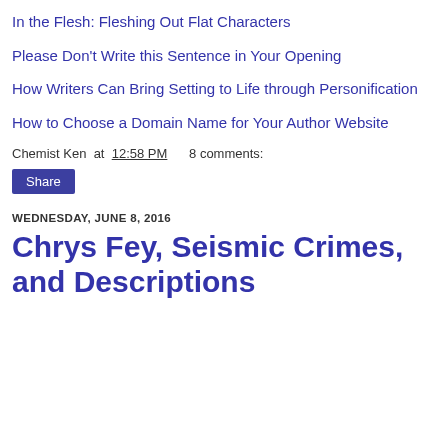In the Flesh: Fleshing Out Flat Characters
Please Don't Write this Sentence in Your Opening
How Writers Can Bring Setting to Life through Personification
How to Choose a Domain Name for Your Author Website
Chemist Ken at 12:58 PM   8 comments:
Share
WEDNESDAY, JUNE 8, 2016
Chrys Fey, Seismic Crimes, and Descriptions